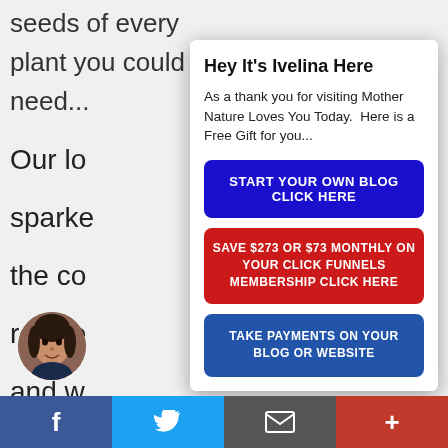seeds of every plant you could need...
Our lo
sparke
the co
reside
and w
perso
seeds
Hey It's Ivelina Here
As a thank you for visiting Mother Nature Loves You Today.  Here is a Free Gift for you...
START YOUR OWN BLOG CLICK HERE
SAVE $273 OR $73 MONTHLY ON YOUR CLICK FUNNELS MEMBERSHIP CLICK HERE
TAKE PAYMENTS ON YOUR BLOG OR WEBSITE
[Figure (photo): Circular profile photo of a woman with dark hair]
f   Twitter bird   envelope   +